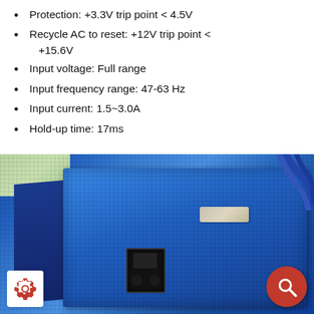Protection: +3.3V trip point < 4.5V
Recycle AC to reset: +12V trip point < +15.6V
Input voltage: Full range
Input frequency range: 47-63 Hz
Input current: 1.5~3.0A
Hold-up time: 17ms
[Figure (photo): A blue metal mesh power supply unit photographed at an angle, showing the top mesh surface, a small label sticker, blue cables in the background, and a power inlet connector at the bottom front. A white settings gear icon is visible at the bottom-left corner and a red circular search icon at the bottom-right corner.]